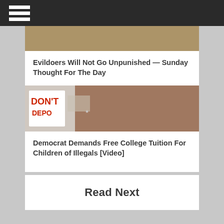[Figure (photo): Partial image of a person at top of article card]
Evildoers Will Not Go Unpunished — Sunday Thought For The Day
[Figure (photo): Protest scene with people wearing white shirts with red text reading 'DON'T' and a child in the foreground]
Democrat Demands Free College Tuition For Children of Illegals [Video]
Read Next